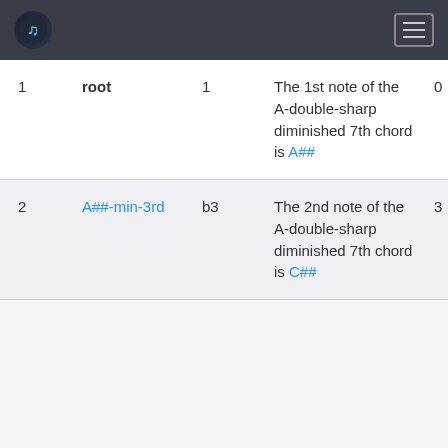Music note reference app header
| # | Name | Interval | Description | Semitones |
| --- | --- | --- | --- | --- |
| 1 | root | 1 | The 1st note of the A-double-sharp diminished 7th chord is A## | 0 |
| 2 | A##-min-3rd | b3 | The 2nd note of the A-double-sharp diminished 7th chord is C## | 3 |